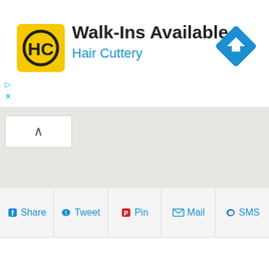[Figure (screenshot): Hair Cuttery advertisement banner with yellow HC logo, Walk-Ins Available title, and blue directional road sign icon]
[Figure (map): Gray map area (mostly empty/blank)]
Share | Tweet | Pin | Mail | SMS